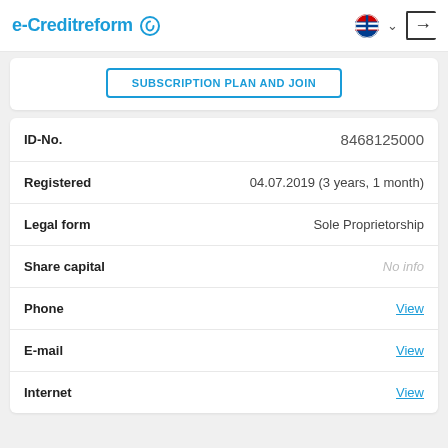e-Creditreform
SUBSCRIPTION PLAN AND JOIN
| Field | Value |
| --- | --- |
| ID-No. | 8468125000 |
| Registered | 04.07.2019 (3 years, 1 month) |
| Legal form | Sole Proprietorship |
| Share capital | No info |
| Phone | View |
| E-mail | View |
| Internet | View |